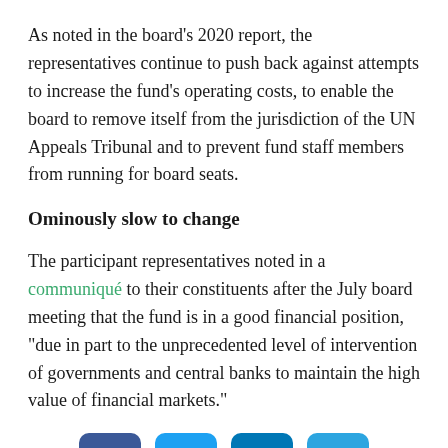As noted in the board's 2020 report, the representatives continue to push back against attempts to increase the fund's operating costs, to enable the board to remove itself from the jurisdiction of the UN Appeals Tribunal and to prevent fund staff members from running for board seats.
Ominously slow to change
The participant representatives noted in a communiqué to their constituents after the July board meeting that the fund is in a good financial position, "due in part to the unprecedented level of intervention of governments and central banks to maintain the high value of financial markets."
[Figure (infographic): Social media sharing buttons: Facebook, Twitter, LinkedIn, Telegram]